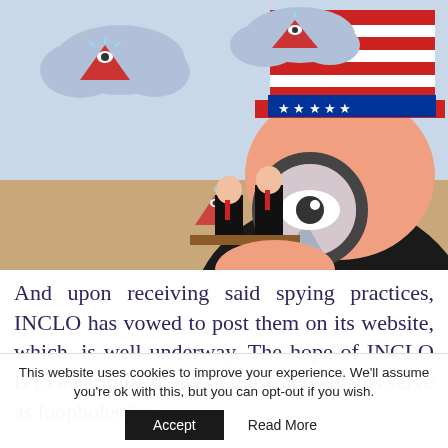[Figure (illustration): Cartoon illustration of a large figure wearing a red, white, and blue Uncle Sam hat, looking through a magnifying glass. In the background are two smaller business figures at what appears to be a courtroom or desk, with clouds containing all-seeing-eye pyramid symbols above.]
And upon receiving said spying practices, INCLO has vowed to post them on its website, which, is well underway. The hope of INCLO is to determine if any of these agreements serve as loopholes for
This website uses cookies to improve your experience. We'll assume you're ok with this, but you can opt-out if you wish.